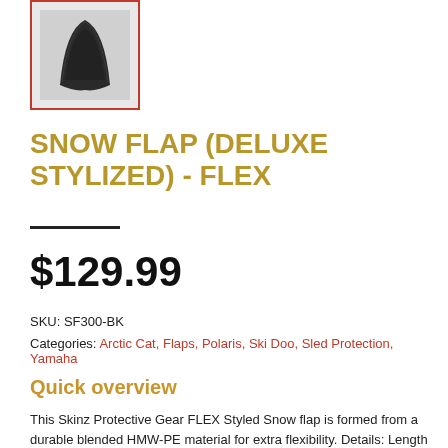[Figure (photo): Product photo of a black snow flap shown against white background, inside a red-bordered frame.]
SNOW FLAP (DELUXE STYLIZED) - FLEX
$129.99
SKU: SF300-BK
Categories: Arctic Cat, Flaps, Polaris, Ski Doo, Sled Protection, Yamaha
Quick overview
This Skinz Protective Gear FLEX Styled Snow flap is formed from a durable blended HMW-PE material for extra flexibility. Details: Length Trail: 16" Length Mountain: 10" Width (Both): 16" The flaps do not come pre-drilled. They come sized and fit ready.